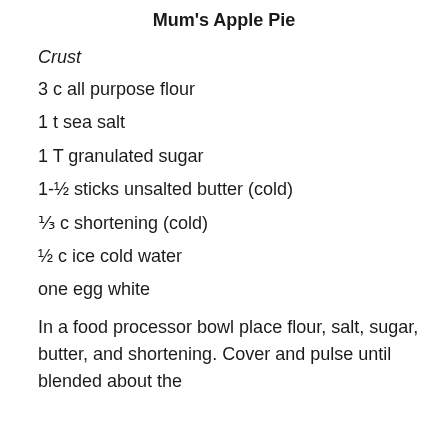Mum's Apple Pie
Crust
3 c all purpose flour
1 t sea salt
1 T granulated sugar
1-½ sticks unsalted butter (cold)
⅓ c shortening (cold)
½ c ice cold water
one egg white
In a food processor bowl place flour, salt, sugar, butter, and shortening. Cover and pulse until blended about the